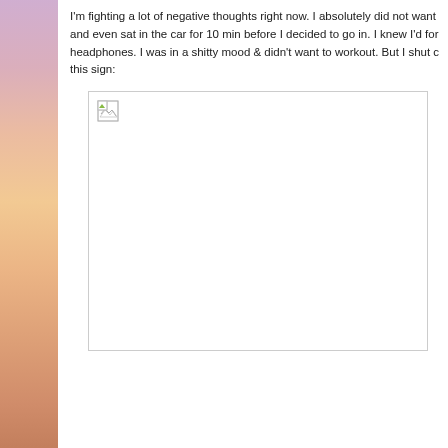I'm fighting a lot of negative thoughts right now. I absolutely did not want and even sat in the car for 10 min before I decided to go in. I knew I'd for headphones. I was in a shitty mood & didn't want to workout. But I shut c this sign:
[Figure (photo): A broken/missing image placeholder with a small image icon in the top-left corner, shown inside a light-bordered rectangular frame.]